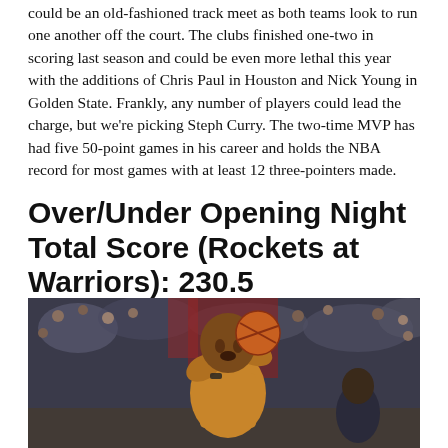could be an old-fashioned track meet as both teams look to run one another off the court. The clubs finished one-two in scoring last season and could be even more lethal this year with the additions of Chris Paul in Houston and Nick Young in Golden State. Frankly, any number of players could lead the charge, but we're picking Steph Curry. The two-time MVP has had five 50-point games in his career and holds the NBA record for most games with at least 12 three-pointers made.
Over/Under Opening Night Total Score (Rockets at Warriors): 230.5
[Figure (photo): Basketball player in yellow/gold Cavaliers jersey going up for a shot, grimacing with effort, another player visible in the lower right, crowd in the background]